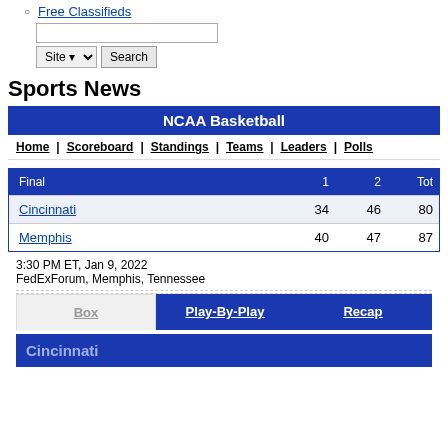Free Classifieds
Sports News
| Final | 1 | 2 | Tot |
| --- | --- | --- | --- |
| Cincinnati | 34 | 46 | 80 |
| Memphis | 40 | 47 | 87 |
3:30 PM ET, Jan 9, 2022
FedExForum, Memphis, Tennessee
Box | Play-By-Play | Recap
Cincinnati